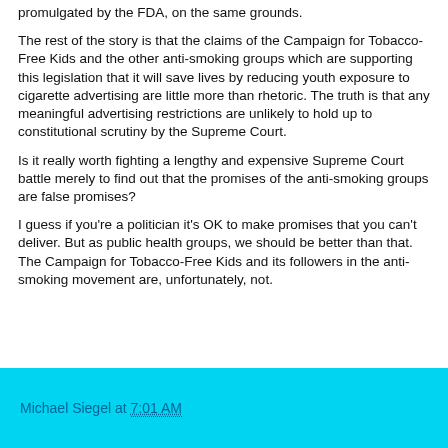promulgated by the FDA, on the same grounds.
The rest of the story is that the claims of the Campaign for Tobacco-Free Kids and the other anti-smoking groups which are supporting this legislation that it will save lives by reducing youth exposure to cigarette advertising are little more than rhetoric. The truth is that any meaningful advertising restrictions are unlikely to hold up to constitutional scrutiny by the Supreme Court.
Is it really worth fighting a lengthy and expensive Supreme Court battle merely to find out that the promises of the anti-smoking groups are false promises?
I guess if you're a politician it's OK to make promises that you can't deliver. But as public health groups, we should be better than that. The Campaign for Tobacco-Free Kids and its followers in the anti-smoking movement are, unfortunately, not.
Michael Siegel at 7:01 AM